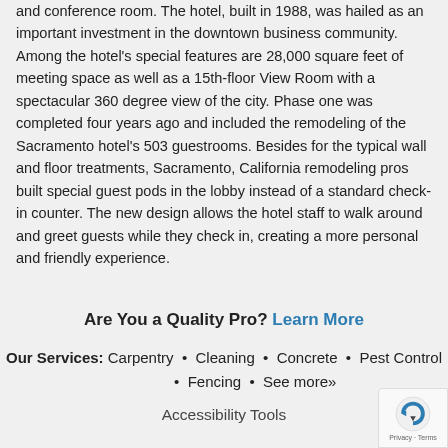and conference room. The hotel, built in 1988, was hailed as an important investment in the downtown business community. Among the hotel's special features are 28,000 square feet of meeting space as well as a 15th-floor View Room with a spectacular 360 degree view of the city. Phase one was completed four years ago and included the remodeling of the Sacramento hotel's 503 guestrooms. Besides for the typical wall and floor treatments, Sacramento, California remodeling pros built special guest pods in the lobby instead of a standard check-in counter. The new design allows the hotel staff to walk around and greet guests while they check in, creating a more personal and friendly experience.
Are You a Quality Pro? Learn More
Our Services: Carpentry • Cleaning • Concrete • Pest Control • Fencing • See more»
Accessibility Tools